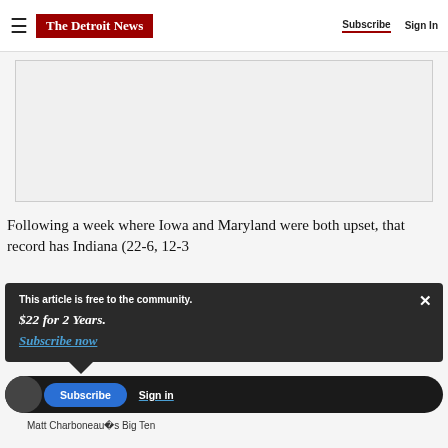The Detroit News — Subscribe | Sign In
[Figure (other): Advertisement placeholder rectangle with light gray background]
Following a week where Iowa and Maryland were both upset, that record has Indiana (22-6, 12-3
This article is free to the community.
$22 for 2 Years.
Subscribe now
Subscribe   Sign in
Matt Charboneau's Big Ten